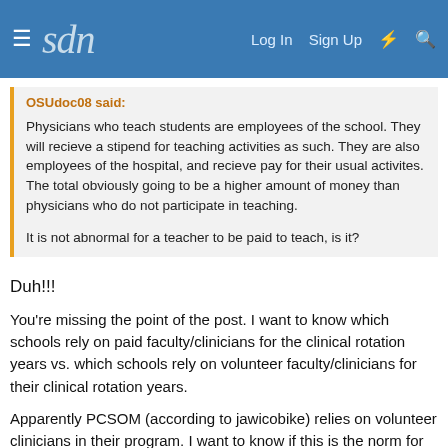≡ sdn  Log In  Sign Up  ⚡  🔍
OSUdoc08 said:
Physicians who teach students are employees of the school. They will recieve a stipend for teaching activities as such. They are also employees of the hospital, and recieve pay for their usual activites. The total obviously going to be a higher amount of money than physicians who do not participate in teaching.

It is not abnormal for a teacher to be paid to teach, is it?
Duh!!!
You're missing the point of the post. I want to know which schools rely on paid faculty/clinicians for the clinical rotation years vs. which schools rely on volunteer faculty/clinicians for their clinical rotation years.
Apparently PCSOM (according to jawicobike) relies on volunteer clinicians in their program. I want to know if this is the norm for